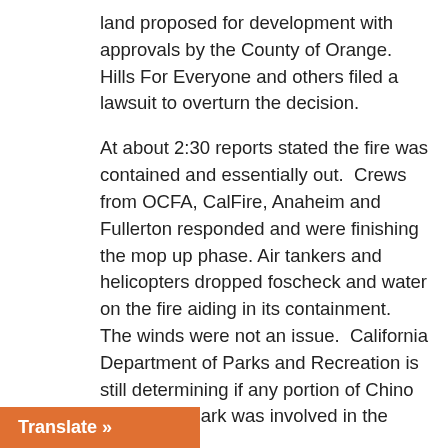land proposed for development with approvals by the County of Orange. Hills For Everyone and others filed a lawsuit to overturn the decision.
At about 2:30 reports stated the fire was contained and essentially out. Crews from OCFA, CalFire, Anaheim and Fullerton responded and were finishing the mop up phase. Air tankers and helicopters dropped foscheck and water on the fire aiding in its containment. The winds were not an issue. California Department of Parks and Recreation is still determining if any portion of Chino Hills State Park was involved in the wildfire.
Here are the links to the various media reports from yesterday:
NBC News
CBS Local News
OC Register
The most recent reports (September 18, 2015) from the Orange County Sheriff's Department indicate a 26 year old male, Erik Virgil, was caught fleeing the scene, was arrested for the fire.